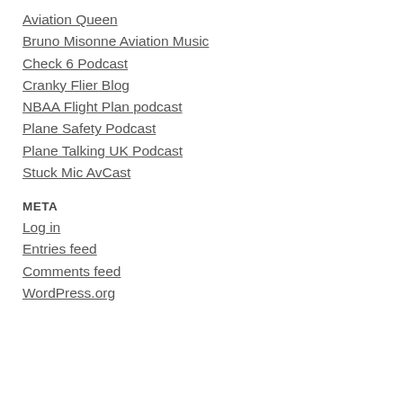Aviation Queen
Bruno Misonne Aviation Music
Check 6 Podcast
Cranky Flier Blog
NBAA Flight Plan podcast
Plane Safety Podcast
Plane Talking UK Podcast
Stuck Mic AvCast
META
Log in
Entries feed
Comments feed
WordPress.org